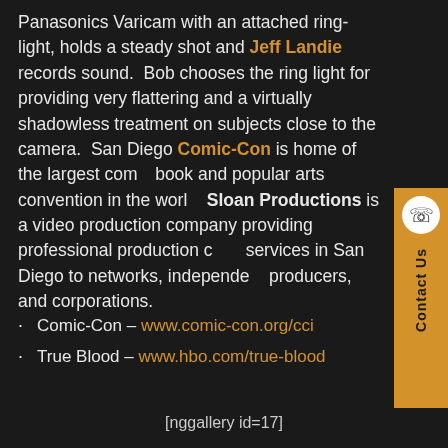Panasonics Varicam with an attached ring-light, holds a steady shot and Jeff Landie records sound. Bob chooses the ring light for providing very flattering and a virtually shadowless treatment on subjects close to the camera. San Diego Comic-Con is home of the largest comic book and popular arts convention in the world. Sloan Productions is a video production company providing professional production crew services in San Diego to networks, independent producers, and corporations.
Comic-Con – www.comic-con.org/cci
True Blood – www.hbo.com/true-blood
[nggallery id=17]